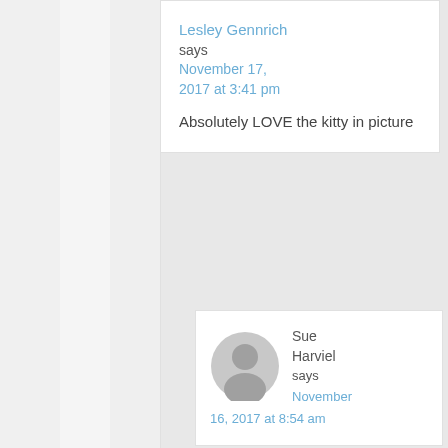Lesley Gennrich
says
November 17, 2017 at 3:41 pm

Absolutely LOVE the kitty in picture
[Figure (illustration): Generic user avatar - gray circular person silhouette icon]
Sue Harviel
says
November 16, 2017 at 8:54 am